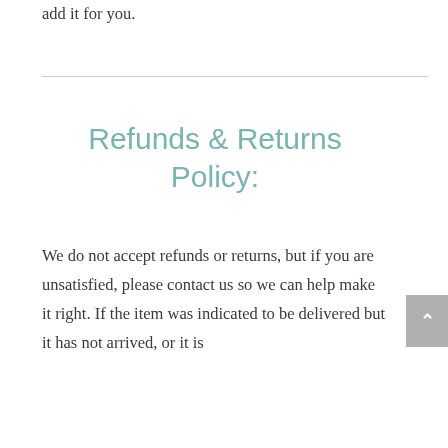add it for you.
Refunds & Returns Policy:
We do not accept refunds or returns, but if you are unsatisfied, please contact us so we can help make it right. If the item was indicated to be delivered but it has not arrived, or it is